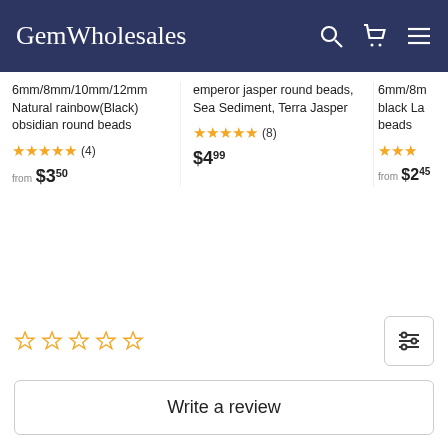GemWholesales
6mm/8mm/10mm/12mm Natural rainbow(Black) obsidian round beads ★★★★★ (4) from $3.50
emperor jasper round beads, Sea Sediment, Terra Jasper ★★★★★ (8) $4.99
6mm/8mm black Lava beads ★★★★★ from $2.45
[Figure (other): Five empty orange star rating icons]
Write a review
Be the first to write a review